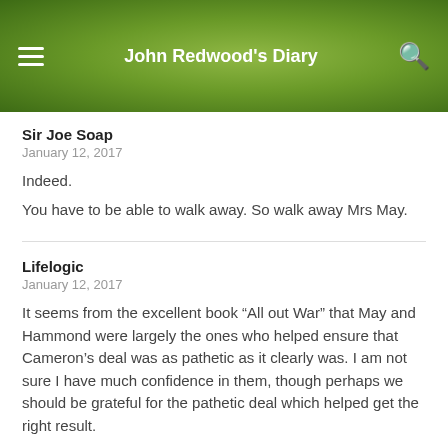John Redwood's Diary
Sir Joe Soap
January 12, 2017
Indeed.
You have to be able to walk away. So walk away Mrs May.
Lifelogic
January 12, 2017
It seems from the excellent book “All out War” that May and Hammond were largely the ones who helped ensure that Cameron’s deal was as pathetic as it clearly was. I am not sure I have much confidence in them, though perhaps we should be grateful for the pathetic deal which helped get the right result.